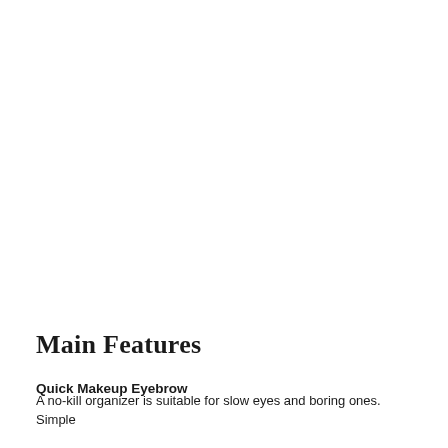Main Features
Quick Makeup Eyebrow
A no-kill organizer is suitable for slow eyes and boring ones. Simple